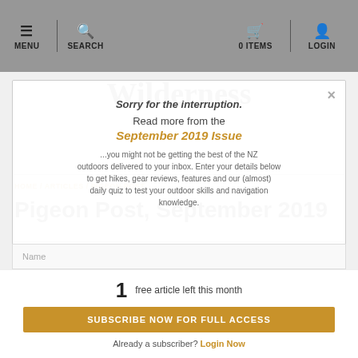MENU | SEARCH | 0 ITEMS | LOGIN
Wilderness
Sorry for the interruption.
Read more from the September 2019 Issue
...you might not be getting the best of the NZ outdoors delivered to your inbox. Enter your details below to get hikes, gear reviews, features and our (almost) daily quiz to test your outdoor skills and navigation knowledge.
HOME / ARTICLES / PIGEON POST
Pigeon Post, September 2019
Name
1 free article left this month
SUBSCRIBE NOW FOR FULL ACCESS
Already a subscriber? Login Now